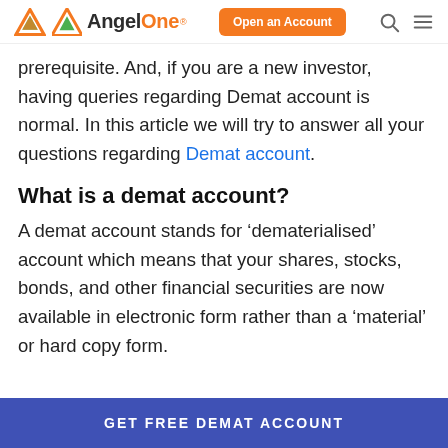Angel One — Open an Account
prerequisite. And, if you are a new investor, having queries regarding Demat account is normal. In this article we will try to answer all your questions regarding Demat account.
What is a demat account?
A demat account stands for ‘dematerialised’ account which means that your shares, stocks, bonds, and other financial securities are now available in electronic form rather than a ‘material’ or hard copy form.
GET FREE DEMAT ACCOUNT